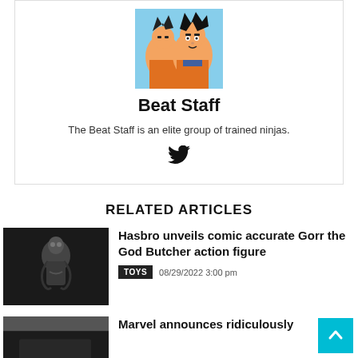[Figure (illustration): Anime profile image showing two characters from Dragon Ball Z]
Beat Staff
The Beat Staff is an elite group of trained ninjas.
[Figure (logo): Twitter bird icon]
RELATED ARTICLES
[Figure (photo): Black and white photo of Gorr the God Butcher action figure]
Hasbro unveils comic accurate Gorr the God Butcher action figure
TOYS  08/29/2022 3:00 pm
[Figure (photo): Dark thumbnail image for Marvel article]
Marvel announces ridiculously